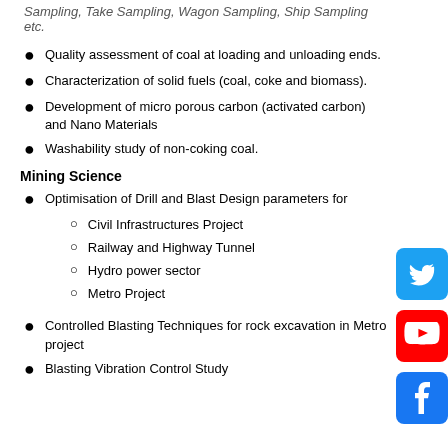Sampling, Take Sampling, Wagon Sampling, Ship Sampling etc.
Quality assessment of coal at loading and unloading ends.
Characterization of solid fuels (coal, coke and biomass).
Development of micro porous carbon (activated carbon) and Nano Materials
Washability study of non-coking coal.
Mining Science
Optimisation of Drill and Blast Design parameters for
Civil Infrastructures Project
Railway and Highway Tunnel
Hydro power sector
Metro Project
Controlled Blasting Techniques for rock excavation in Metro project
Blasting Vibration Control Study